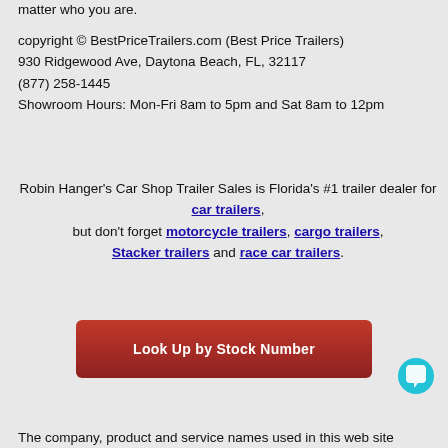matter who you are.
copyright © BestPriceTrailers.com (Best Price Trailers)
930 Ridgewood Ave, Daytona Beach, FL, 32117
(877) 258-1445
Showroom Hours: Mon-Fri 8am to 5pm and Sat 8am to 12pm
Robin Hanger's Car Shop Trailer Sales is Florida's #1 trailer dealer for car trailers, but don't forget motorcycle trailers, cargo trailers, Stacker trailers and race car trailers.
[Figure (other): Red button labeled 'Look Up by Stock Number']
[Figure (other): Chat icon bubble in teal/cyan color]
The company, product and service names used in this web site